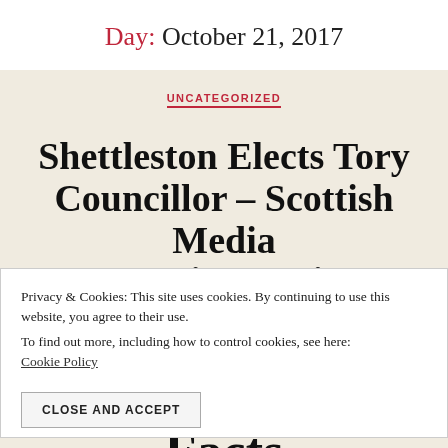Day: October 21, 2017
UNCATEGORIZED
Shettleston Elects Tory Councillor – Scottish Media Ecstatic – Major Facts
Privacy & Cookies: This site uses cookies. By continuing to use this website, you agree to their use.
To find out more, including how to control cookies, see here: Cookie Policy
CLOSE AND ACCEPT